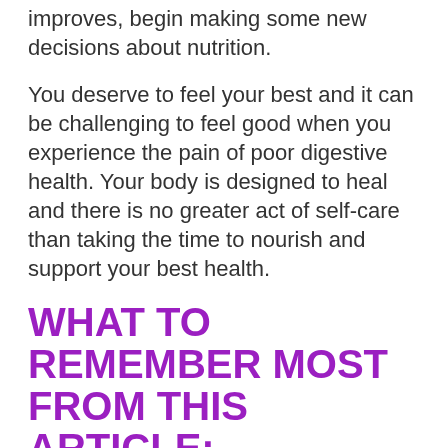improves, begin making some new decisions about nutrition.
You deserve to feel your best and it can be challenging to feel good when you experience the pain of poor digestive health. Your body is designed to heal and there is no greater act of self-care than taking the time to nourish and support your best health.
WHAT TO REMEMBER MOST FROM THIS ARTICLE:
Over 70 million Americans struggle with digestive diseases, and the truth is that poor digestion can effect your health for